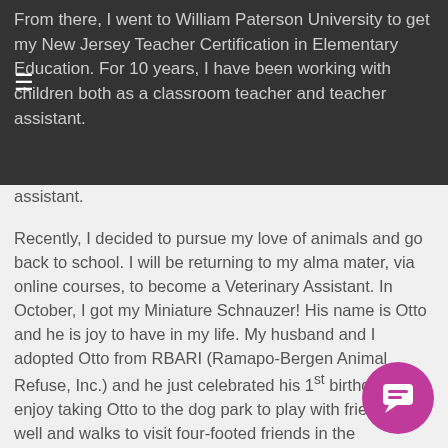From there, I went to William Paterson University to get my New Jersey Teacher Certification in Elementary Education. For 10 years, I have been working with children both as a classroom teacher and teacher assistant.
Recently, I decided to pursue my love of animals and go back to school. I will be returning to my alma mater, via online courses, to become a Veterinary Assistant. In October, I got my Miniature Schnauzer! His name is Otto and he is joy to have in my life. My husband and I adopted Otto from RBARI (Ramapo-Bergen Animal Refuse, Inc.) and he just celebrated his 1st birthday. We enjoy taking Otto to the dog park to play with friends as well and walks to visit four-footed friends in the neighborhood.
Daniela, Pet Care Specialist, Allendale, NJ
Hi! My name is Daniela. I am 38 years old. I have a